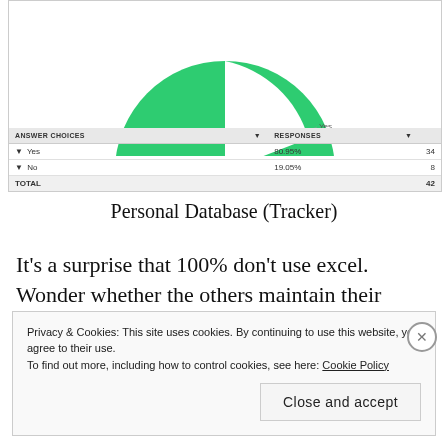[Figure (pie-chart): Personal Database Tracker Survey]
| ANSWER CHOICES | RESPONSES |  |
| --- | --- | --- |
| Yes | 80.95% | 34 |
| No | 19.05% | 8 |
| TOTAL |  | 42 |
Personal Database (Tracker)
It’s a surprise that 100% don’t use excel. Wonder whether the others maintain their personal database.
Privacy & Cookies: This site uses cookies. By continuing to use this website, you agree to their use. To find out more, including how to control cookies, see here: Cookie Policy